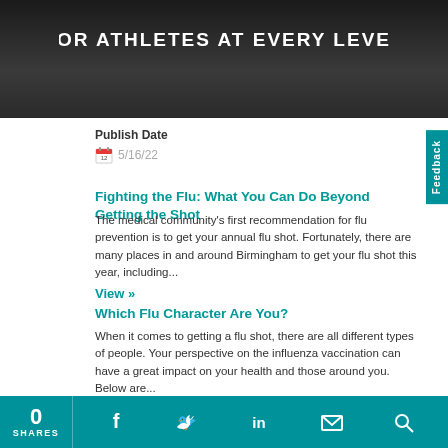[Figure (photo): Dark/black and white image of an athlete with text overlay reading FOR ATHLETES AT EVERY LEVEL]
Publish Date
5/16/22
Fighting the Flu: What You Can Do Beyond Getting the Shot
The medical community's first recommendation for flu prevention is to get your annual flu shot. Fortunately, there are many places in and around Birmingham to get your flu shot this year, including...
View »
Which Flu Character Are You?
When it comes to getting a flu shot, there are all different types of people. Your perspective on the influenza vaccination can have a great impact on your health and those around you. Below are...
View »
0 SHARES  Feedback